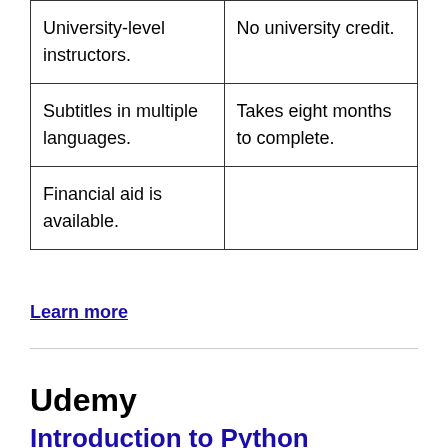| University-level instructors. | No university credit. |
| Subtitles in multiple languages. | Takes eight months to complete. |
| Financial aid is available. |  |
Learn more
Udemy
Introduction to Python